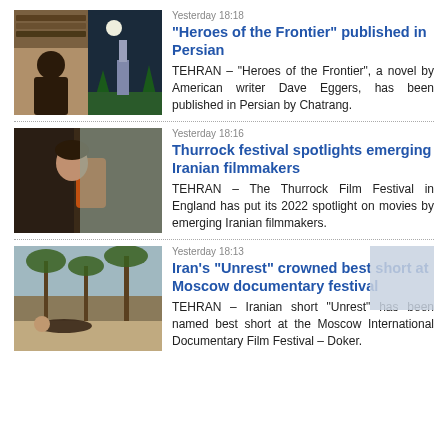Yesterday 18:18
“Heroes of the Frontier” published in Persian
[Figure (photo): Photo of author Dave Eggers alongside a book cover with night sky and trees illustration]
TEHRAN – “Heroes of the Frontier”, a novel by American writer Dave Eggers, has been published in Persian by Chatrang.
Yesterday 18:16
Thurrock festival spotlights emerging Iranian filmmakers
[Figure (photo): Person peeking through a door or wall, dramatic lighting]
TEHRAN – The Thurrock Film Festival in England has put its 2022 spotlight on movies by emerging Iranian filmmakers.
Yesterday 18:13
Iran’s “Unrest” crowned best short at Moscow documentary festival
[Figure (photo): Person lying among palm trees, outdoor scene]
TEHRAN – Iranian short “Unrest” has been named best short at the Moscow International Documentary Film Festival – Doker.